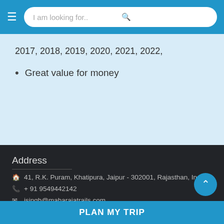I am looking for..
2017, 2018, 2019, 2020, 2021, 2022,
Great value for money
Address
41, R.K. Puram, Khatipura, Jaipur - 302001, Rajasthan, India
+ 91 9549442142
jsingh@maharajatrails.com
Quick Links
Car Rental
Travel Guide
Blogs
PLAN MY TRIP